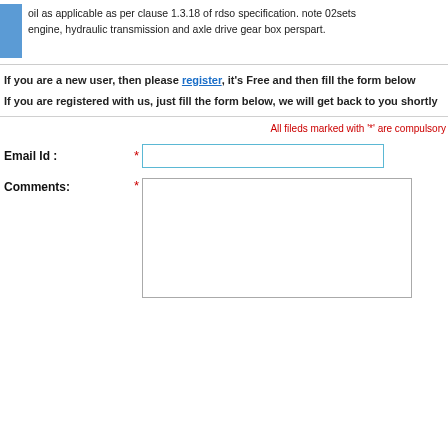oil as applicable as per clause 1.3.18 of rdso specification. note 02sets engine, hydraulic transmission and axle drive gear box perspart.
If you are a new user, then please register, it's Free and then fill the form below
If you are registered with us, just fill the form below, we will get back to you shortly
All fileds marked with '*' are compulsory
Email Id :
Comments: